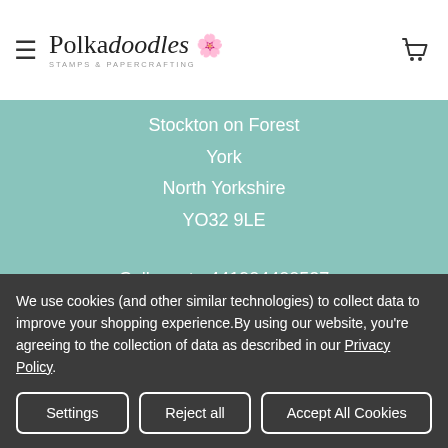Polkadoodles Stamps & Papercrafting
Stockton on Forest
York
North Yorkshire
YO32 9LE

Call us at +441904400527
NAVIGATE
CATEGORIES
We use cookies (and other similar technologies) to collect data to improve your shopping experience.By using our website, you're agreeing to the collection of data as described in our Privacy Policy.
Settings | Reject all | Accept All Cookies